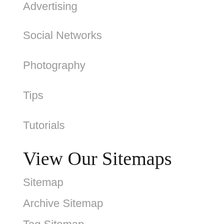Advertising
Social Networks
Photography
Tips
Tutorials
View Our Sitemaps
Sitemap
Archive Sitemap
Tag Sitemap
Category Sitemap